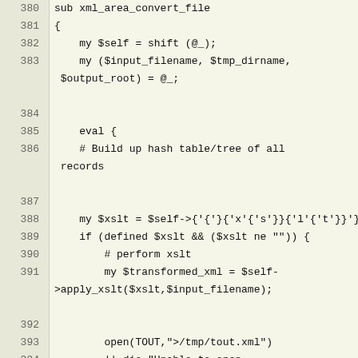Code listing lines 380-399 showing Perl subroutine xml_area_convert_file with XSLT transformation logic